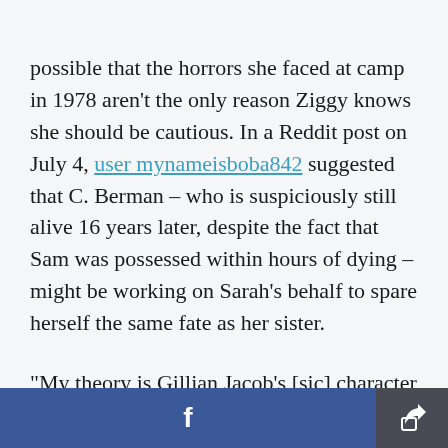possible that the horrors she faced at camp in 1978 aren't the only reason Ziggy knows she should be cautious. In a Reddit post on July 4, user mynameisboba842 suggested that C. Berman – who is suspiciously still alive 16 years later, despite the fact that Sam was possessed within hours of dying – might be working on Sarah's behalf to spare herself the same fate as her sister.

"My theory is Gillian Jacob's [sic] character is working on behalf of Sarah in exchange for being
Facebook share / Share